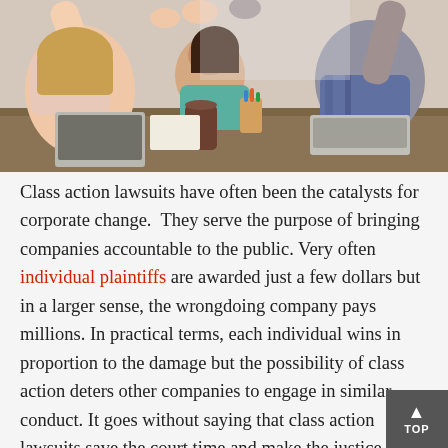[Figure (photo): Group of people at a table high-fiving each other in an office/meeting setting, viewed from above slightly, with laptops and supplies on the table.]
Class action lawsuits have often been the catalysts for corporate change. They serve the purpose of bringing companies accountable to the public. Very often individual plaintiffs are awarded just a few dollars but in a larger sense, the wrongdoing company pays millions. In practical terms, each individual wins in proportion to the damage but the possibility of class action deters other companies to engage in similar conduct. It goes without saying that class action lawsuits save the court time and make the justice system more accessible.